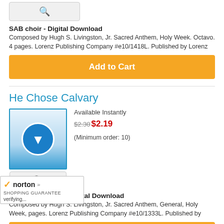[Figure (screenshot): Preview/magnify button with blue search icon on light gray background]
SAB choir - Digital Download
Composed by Hugh S. Livingston, Jr. Sacred Anthem, Holy Week. Octavo. 4 pages. Lorenz Publishing Company #e10/1418L. Published by Lorenz
Add to Cart
He Chose Calvary
[Figure (illustration): Digital download product thumbnail with blue border, gradient background and download music icon circle]
[Figure (screenshot): Preview/magnify button with blue search icon on light gray background]
Available Instantly
$2.30$2.19
(Minimum order: 10)
SAB choir - Easy - Digital Download
Composed by Hugh S. Livingston, Jr. Sacred Anthem, General, Holy Week, pages. Lorenz Publishing Company #e10/1333L. Published by
Add to Cart
[Figure (logo): Norton Shopping Guarantee badge with checkmark logo and verifying... text]